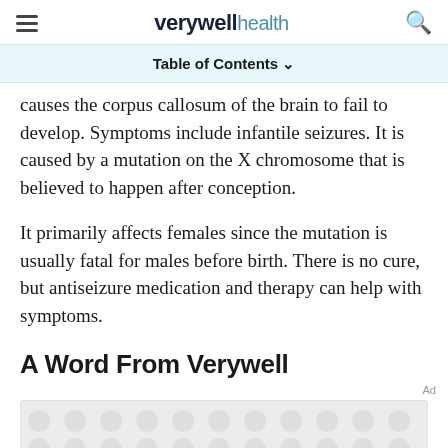verywell health
Table of Contents
causes the corpus callosum of the brain to fail to develop. Symptoms include infantile seizures. It is caused by a mutation on the X chromosome that is believed to happen after conception.
It primarily affects females since the mutation is usually fatal for males before birth. There is no cure, but antiseizure medication and therapy can help with symptoms.
A Word From Verywell
[Figure (other): Advertisement placeholder with dot/circle pattern background]